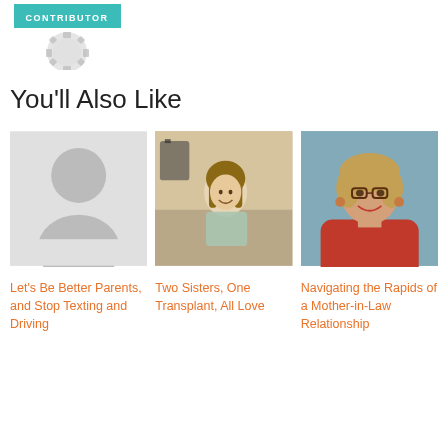[Figure (logo): Teal contributor badge/ribbon with gear element]
You'll Also Like
[Figure (photo): Placeholder silhouette image for first article]
[Figure (photo): Photo of a girl in hospital gown in a medical room smiling]
[Figure (photo): Professional headshot of a smiling woman with glasses wearing a red top]
Let's Be Better Parents, and Stop Texting and Driving
Two Sisters, One Transplant, All Love
Navigating the Rapids of a Mother-in-Law Relationship